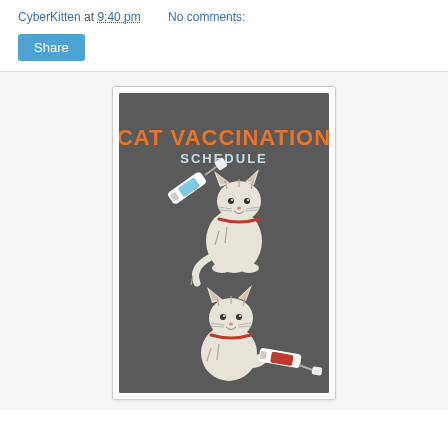CyberKitten at 9:40 pm    No comments:
Share
[Figure (illustration): Cat vaccination schedule poster with dark gray background. Large orange bold text reads 'CAT VACCINATION' and below in white 'SCHEDULE'. Two illustrated cartoon cats are shown — the top cat is sitting and has a syringe with a blue needle near it; the bottom cat is holding a syringe with a red fill. Both cats are white/light gray with red collars and happy expressions.]